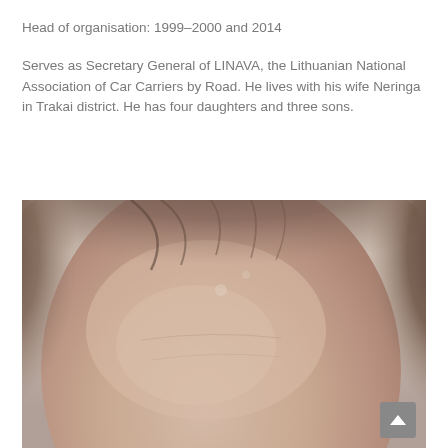Head of organisation: 1999–2000 and 2014
Serves as Secretary General of LINAVA, the Lithuanian National Association of Car Carriers by Road. He lives with his wife Neringa in Trakai district. He has four daughters and three sons.
[Figure (photo): Close-up photo of a middle-aged man's head and forehead, partially bald with dark hair on the sides, shown from above the eyebrows]